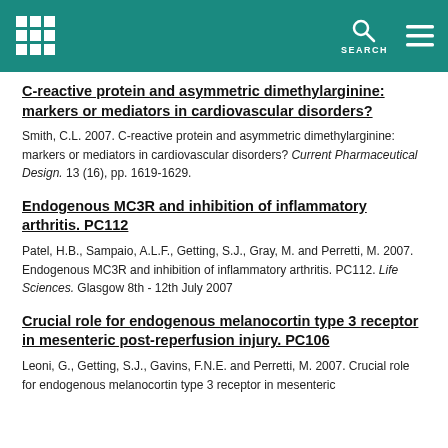C-reactive protein and asymmetric dimethylarginine: markers or mediators in cardiovascular disorders?
Smith, C.L. 2007. C-reactive protein and asymmetric dimethylarginine: markers or mediators in cardiovascular disorders? Current Pharmaceutical Design. 13 (16), pp. 1619-1629.
Endogenous MC3R and inhibition of inflammatory arthritis. PC112
Patel, H.B., Sampaio, A.L.F., Getting, S.J., Gray, M. and Perretti, M. 2007. Endogenous MC3R and inhibition of inflammatory arthritis. PC112. Life Sciences. Glasgow 8th - 12th July 2007
Crucial role for endogenous melanocortin type 3 receptor in mesenteric post-reperfusion injury. PC106
Leoni, G., Getting, S.J., Gavins, F.N.E. and Perretti, M. 2007. Crucial role for endogenous melanocortin type 3 receptor in mesenteric